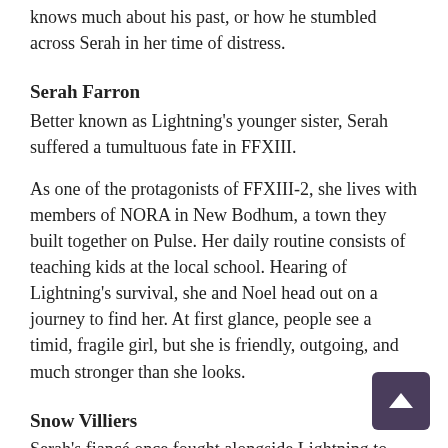knows much about his past, or how he stumbled across Serah in her time of distress.
Serah Farron
Better known as Lightning's younger sister, Serah suffered a tumultuous fate in FFXIII.
As one of the protagonists of FFXIII-2, she lives with members of NORA in New Bodhum, a town they built together on Pulse. Her daily routine consists of teaching kids at the local school. Hearing of Lightning's survival, she and Noel head out on a journey to find her. At first glance, people see a timid, fragile girl, but she is friendly, outgoing, and much stronger than she looks.
Snow Villiers
Serah's fiancé once fought alongside Lightning to save Serah in FINAL FANTASY XIII.
As the battle ends, Lightning is nowhere to be found. Snow is the one who challenges Serah's dream and goes to search for her.